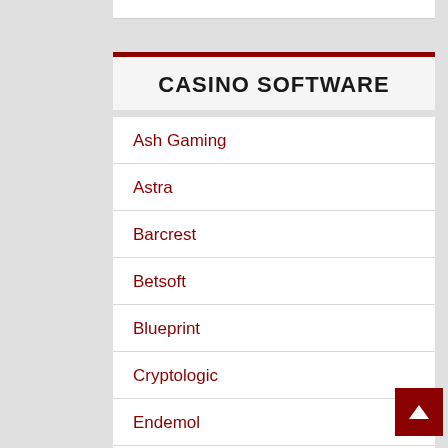CASINO SOFTWARE
Ash Gaming
Astra
Barcrest
Betsoft
Blueprint
Cryptologic
Endemol
Freemantle
Games Warehouse